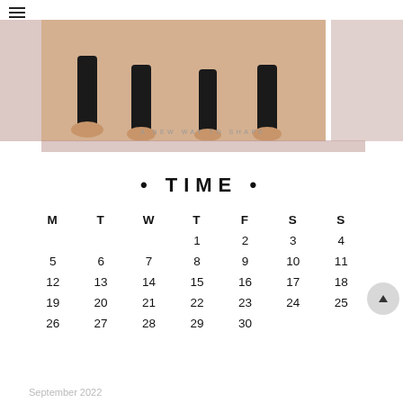[Figure (photo): Photo of bare feet and legs in black pants, yoga or dance studio setting with warm beige floor]
A NEW WAY TO SHAPE
• TIME •
| M | T | W | T | F | S | S |
| --- | --- | --- | --- | --- | --- | --- |
|  |  |  | 1 | 2 | 3 | 4 |
| 5 | 6 | 7 | 8 | 9 | 10 | 11 |
| 12 | 13 | 14 | 15 | 16 | 17 | 18 |
| 19 | 20 | 21 | 22 | 23 | 24 | 25 |
| 26 | 27 | 28 | 29 | 30 |  |  |
September 2022